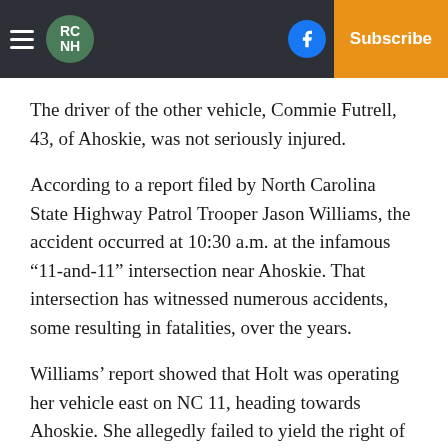RC NH | Log In | Subscribe
The driver of the other vehicle, Commie Futrell, 43, of Ahoskie, was not seriously injured.
According to a report filed by North Carolina State Highway Patrol Trooper Jason Williams, the accident occurred at 10:30 a.m. at the infamous “11-and-11” intersection near Ahoskie. That intersection has witnessed numerous accidents, some resulting in fatalities, over the years.
Williams’ report showed that Holt was operating her vehicle east on NC 11, heading towards Ahoskie. She allegedly failed to yield the right of way as her vehicle